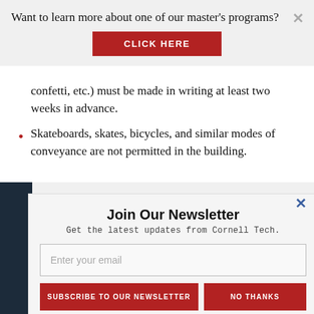Want to learn more about one of our master's programs?
CLICK HERE
confetti, etc.) must be made in writing at least two weeks in advance.
Skateboards, skates, bicycles, and similar modes of conveyance are not permitted in the building.
Join Our Newsletter
Get the latest updates from Cornell Tech.
Enter your email
SUBSCRIBE TO OUR NEWSLETTER
NO THANKS